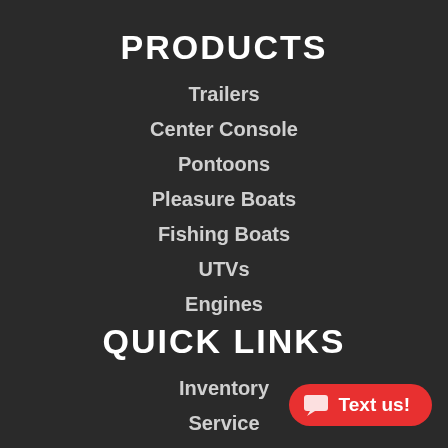PRODUCTS
Trailers
Center Console
Pontoons
Pleasure Boats
Fishing Boats
UTVs
Engines
QUICK LINKS
Inventory
Service
Parts Finder
Financing
About Us